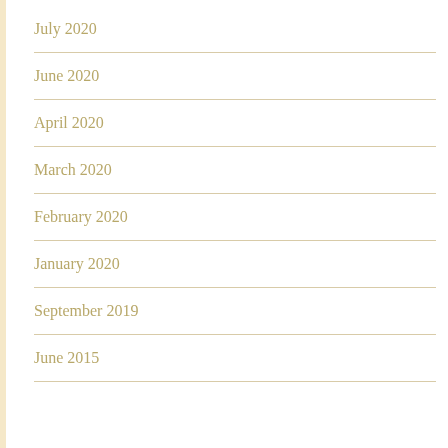July 2020
June 2020
April 2020
March 2020
February 2020
January 2020
September 2019
June 2015